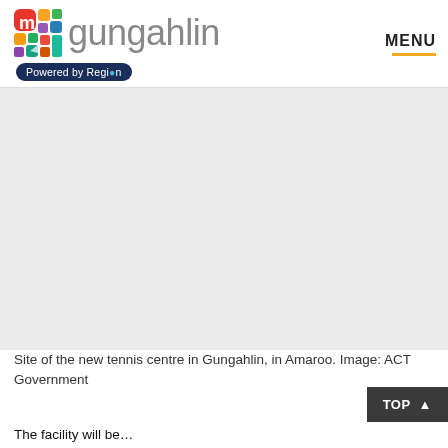my gungahlin — Powered by Region | MENU
[Figure (photo): Aerial or site photograph of the location for the new tennis centre in Gungahlin, in Amaroo. Large white/light-toned area, mostly blank/white in this view.]
Site of the new tennis centre in Gungahlin, in Amaroo. Image: ACT Government
The facility will be…